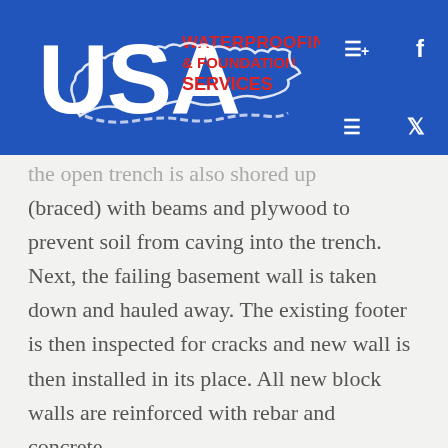[Figure (logo): USA Waterproofing & Foundation Services logo with US map outline and navigation icons (hamburger menu, Facebook, menu, Twitter)]
the open trench is also shored up (braced) with beams and plywood to prevent soil from caving into the trench. Next, the failing basement wall is taken down and hauled away. The existing footer is then inspected for cracks and new wall is then installed in its place. All new block walls are reinforced with rebar and concrete.